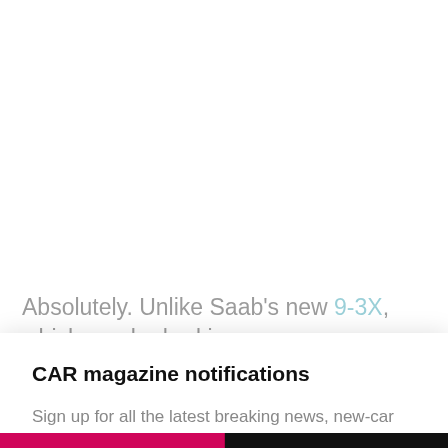Absolutely. Unlike Saab's new 9-3X, which can be had in
CAR magazine notifications
Sign up for all the latest breaking news, new-car alerts and the best electric buying advice
NO THANKS
SIGN UP